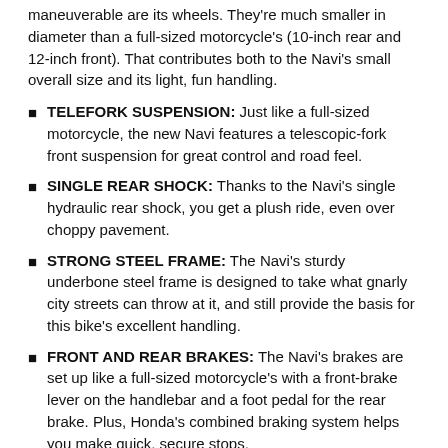maneuverable are its wheels. They're much smaller in diameter than a full-sized motorcycle's (10-inch rear and 12-inch front). That contributes both to the Navi's small overall size and its light, fun handling.
TELEFORK SUSPENSION: Just like a full-sized motorcycle, the new Navi features a telescopic-fork front suspension for great control and road feel.
SINGLE REAR SHOCK: Thanks to the Navi's single hydraulic rear shock, you get a plush ride, even over choppy pavement.
STRONG STEEL FRAME: The Navi's sturdy underbone steel frame is designed to take what gnarly city streets can throw at it, and still provide the basis for this bike's excellent handling.
FRONT AND REAR BRAKES: The Navi's brakes are set up like a full-sized motorcycle's with a front-brake lever on the handlebar and a foot pedal for the rear brake. Plus, Honda's combined braking system helps you make quick, secure stops.
Performance